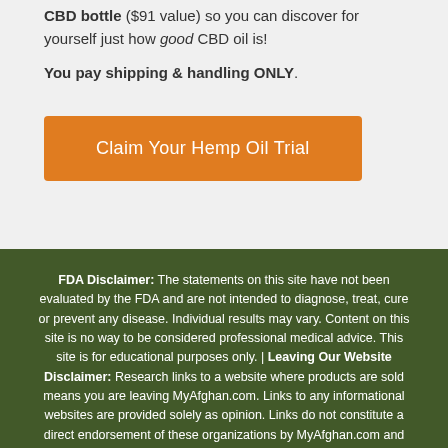CBD bottle ($91 value) so you can discover for yourself just how good CBD oil is!
You pay shipping & handling ONLY.
[Figure (other): Orange call-to-action button labeled 'Claim Your Hemp Oil Trial']
FDA Disclaimer: The statements on this site have not been evaluated by the FDA and are not intended to diagnose, treat, cure or prevent any disease. Individual results may vary. Content on this site is no way to be considered professional medical advice. This site is for educational purposes only. | Leaving Our Website Disclaimer: Research links to a website where products are sold means you are leaving MyAfghan.com. Links to any informational websites are provided solely as opinion. Links do not constitute a direct endorsement of these organizations by MyAfghan.com and none should be inferred.